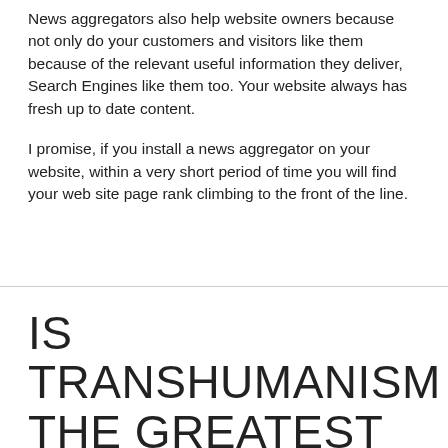News aggregators also help website owners because not only do your customers and visitors like them because of the relevant useful information they deliver, Search Engines like them too. Your website always has fresh up to date content.
I promise, if you install a news aggregator on your website, within a very short period of time you will find your web site page rank climbing to the front of the line.
IS TRANSHUMANISM THE GREATEST THREAT TO HUMANITY?